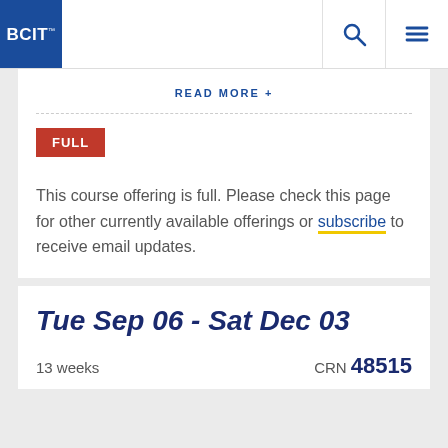BCIT
READ MORE +
FULL
This course offering is full. Please check this page for other currently available offerings or subscribe to receive email updates.
Tue Sep 06 - Sat Dec 03
13 weeks   CRN 48515